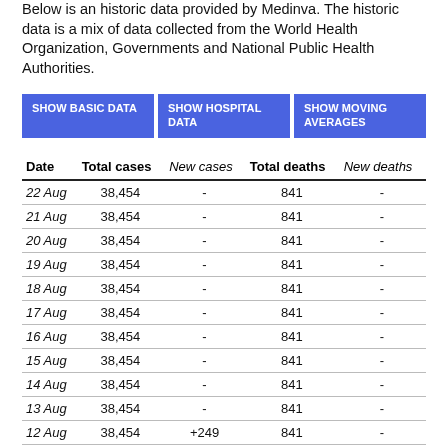Below is an historic data provided by Medinva. The historic data is a mix of data collected from the World Health Organization, Governments and National Public Health Authorities.
| Date | Total cases | New cases | Total deaths | New deaths |
| --- | --- | --- | --- | --- |
| 22 Aug | 38,454 | - | 841 | - |
| 21 Aug | 38,454 | - | 841 | - |
| 20 Aug | 38,454 | - | 841 | - |
| 19 Aug | 38,454 | - | 841 | - |
| 18 Aug | 38,454 | - | 841 | - |
| 17 Aug | 38,454 | - | 841 | - |
| 16 Aug | 38,454 | - | 841 | - |
| 15 Aug | 38,454 | - | 841 | - |
| 14 Aug | 38,454 | - | 841 | - |
| 13 Aug | 38,454 | - | 841 | - |
| 12 Aug | 38,454 | +249 | 841 | - |
| 11 Aug | 38,205 | - | 841 | - |
| 10 Aug | 38,205 | - | 841 | - |